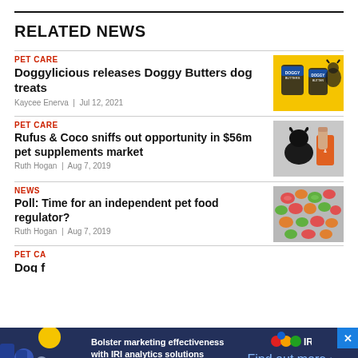RELATED NEWS
PET CARE | Doggylicious releases Doggy Butters dog treats | Kaycee Enerva | Jul 12, 2021
PET CARE | Rufus & Coco sniffs out opportunity in $56m pet supplements market | Ruth Hogan | Aug 7, 2019
NEWS | Poll: Time for an independent pet food regulator? | Ruth Hogan | Aug 7, 2019
PET CARE | Dog f...
Bolster marketing effectiveness with IRI analytics solutions